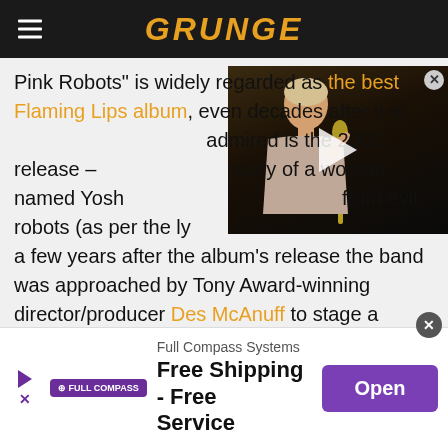GRUNGE
Pink Robots" is widely regarded as the best Flaming Lips album, even decades after it was released. Also widely admired is the 2002 release – which tells the story of a woman named Yoshimi who saves the world from evil robots (as per the lyrics). Interestingly, a few years after the album's release the band was approached by Tony Award-winning director/producer Des McAnuff to stage a Broadway musical based on the album.
[Figure (photo): Video thumbnail showing a person singing at a microphone against a dark background, with a play button overlay]
Full Compass Systems Free Shipping - Free Service